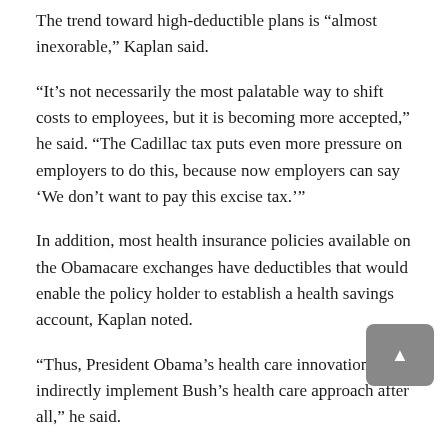The trend toward high-deductible plans is “almost inexorable,” Kaplan said.
“It’s not necessarily the most palatable way to shift costs to employees, but it is becoming more accepted,” he said. “The Cadillac tax puts even more pressure on employers to do this, because now employers can say ‘We don’t want to pay this excise tax.’”
In addition, most health insurance policies available on the Obamacare exchanges have deductibles that would enable the policy holder to establish a health savings account, Kaplan noted.
“Thus, President Obama’s health care innovations may indirectly implement Bush’s health care approach after all,” he said.